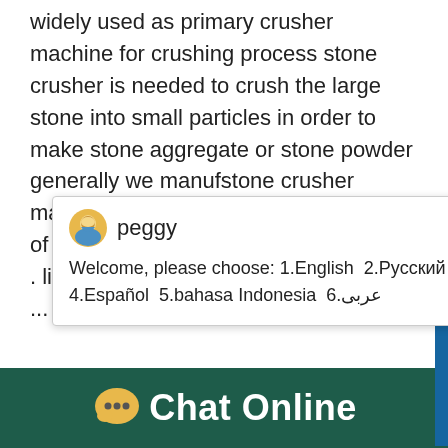widely used as primary crusher machine for crushing process stone crusher is needed to crush the large stone into small particles in order to make stone aggregate or stone powder generally we manufstone crusher machines prices in india.get price. price of mobile stone crusher in india crusher . list ofstone crusher manufacturers in ...
[Figure (screenshot): Chat popup with avatar of 'peggy', close button (×), and message: Welcome, please choose: 1.English 2.Русский 3.Français 4.Español 5.bahasa Indonesia 6.عربى]
[Figure (photo): Photo of stone crusher machinery parts on left, and a crusher machine on right with blue circle showing number 1 and a 'Click me to chat>>' button]
[Figure (infographic): Dark green footer bar with chat bubble icon and 'Chat Online' text in white]